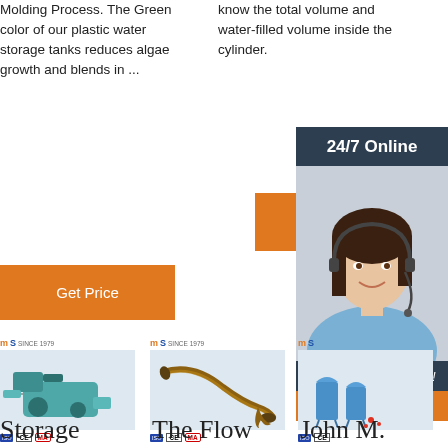Molding Process. The Green color of our plastic water storage tanks reduces algae growth and blends in ...
know the total volume and water-filled volume inside the cylinder.
[Figure (infographic): 24/7 Online chat panel with agent photo, 'Click here for free chat!' text and QUOTATION button]
Get Price
Get Price
[Figure (photo): Industrial machinery - green pump/compressor unit with MS Since 1979 logo and CE MA certifications]
[Figure (photo): Industrial flow equipment - flexible hose/pipe component with MS Since 1979 logo and CE MA certifications]
[Figure (photo): Industrial storage/silo unit with MS logo and CE certifications, partially behind chat panel]
Storage
The Flow
John M.